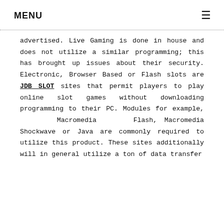MENU ≡
advertised. Live Gaming is done in house and does not utilize a similar programming; this has brought up issues about their security. Electronic, Browser Based or Flash slots are JDB SLOT sites that permit players to play online slot games without downloading programming to their PC. Modules for example, Macromedia Flash, Macromedia Shockwave or Java are commonly required to utilize this product. These sites additionally will in general utilize a ton of data transfer